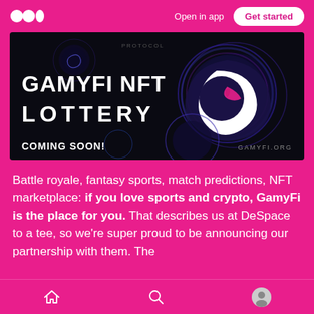Open in app  Get started
[Figure (illustration): GamyFi NFT Lottery promotional banner on black background with swirling galaxy orbs and crescent moon logo. Text reads 'GAMYFI NFT LOTTERY' and 'COMING SOON!' with 'GAMYFI.ORG' in bottom right.]
Battle royale, fantasy sports, match predictions, NFT marketplace: if you love sports and crypto, GamyFi is the place for you. That describes us at DeSpace to a tee, so we're super proud to be announcing our partnership with them. The
Home  Search  Profile